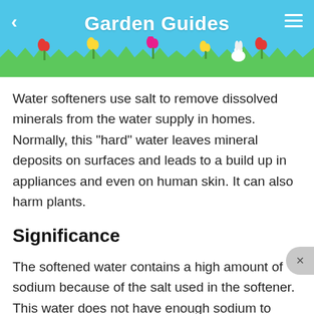Garden Guides
Water softeners use salt to remove dissolved minerals from the water supply in homes. Normally, this "hard" water leaves mineral deposits on surfaces and leads to a build up in appliances and even on human skin. It can also harm plants.
Significance
The softened water contains a high amount of sodium because of the salt used in the softener. This water does not have enough sodium to taste salty, but the sodium levels are high enough to affect plants and affect grasses in higher concentrations.